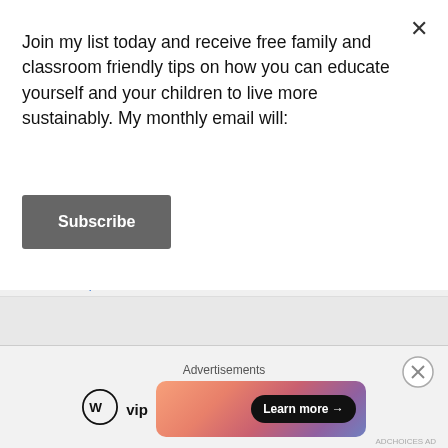Join my list today and receive free family and classroom friendly tips on how you can educate yourself and your children to live more sustainably. My monthly email will:
Subscribe
×
April 2022
BUY NOW
Advertisements
[Figure (logo): WordPress VIP logo with circular W icon]
[Figure (other): Colorful gradient advertisement banner with 'Learn more →' button]